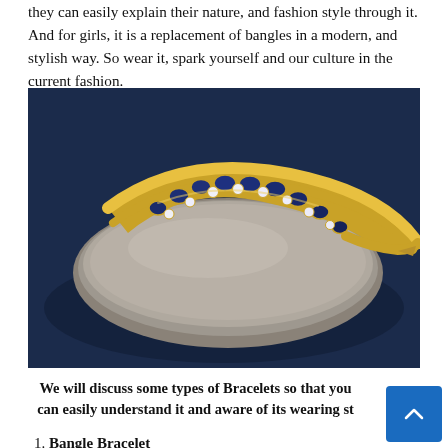they can easily explain their nature, and fashion style through it. And for girls, it is a replacement of bangles in a modern, and stylish way. So wear it, spark yourself and our culture in the current fashion.
[Figure (photo): A gold bangle bracelet with alternating oval blue sapphires and round white diamonds, displayed on a smooth grey stone against a dark navy blue fabric background.]
We will discuss some types of Bracelets so that you can easily understand it and aware of its wearing st
Bangle Bracelet